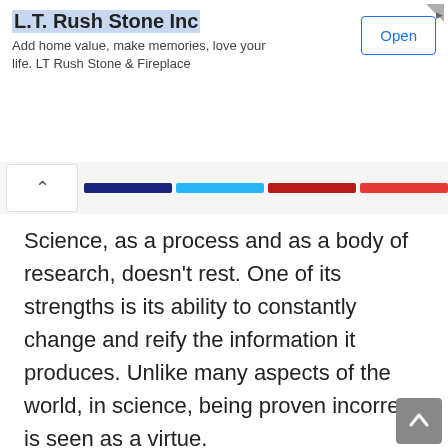[Figure (screenshot): Advertisement banner for L.T. Rush Stone Inc showing company name, tagline, and Open button]
[Figure (screenshot): Navigation bar with back arrow button and colored tab indicators in dark blue, light blue, dark red, and red]
Science, as a process and as a body of research, doesn’t rest. One of its strengths is its ability to constantly change and reify the information it produces. Unlike many aspects of the world, in science, being proven incorrect is seen as a virtue.
The struggle to find the best answer means going through more than a few wrong answers. What researchers and scientists fear, however, is incomplete answers. Verifying information is a tricky task, one that leads to some conflict when discussing